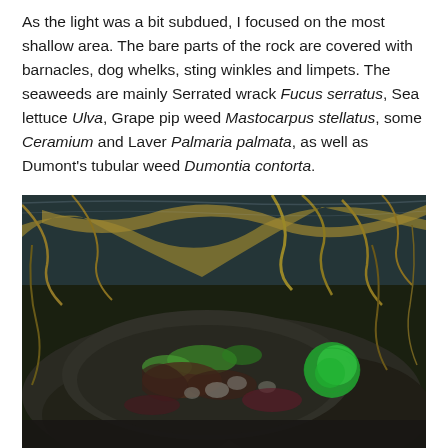As the light was a bit subdued, I focused on the most shallow area. The bare parts of the rock are covered with barnacles, dog whelks, sting winkles and limpets. The seaweeds are mainly Serrated wrack Fucus serratus, Sea lettuce Ulva, Grape pip weed Mastocarpus stellatus, some Ceramium and Laver Palmaria palmata, as well as Dumont's tubular weed Dumontia contorta.
[Figure (photo): Underwater photograph of a shallow rocky area showing various seaweeds including green sea lettuce, yellow-brown wrack, red algae, and other marine vegetation on and around rocks, with water visible above.]